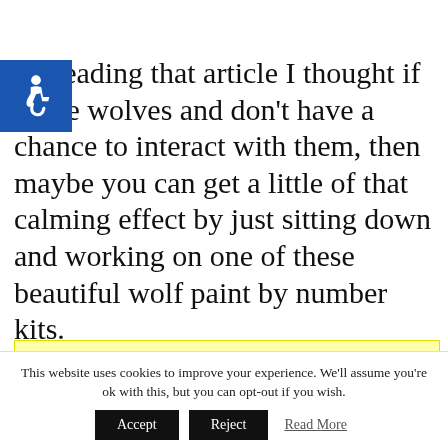[Figure (logo): Blue square accessibility icon with wheelchair symbol in white]
ter reading that article I thought if you e wolves and don't have a chance to interact with them, then maybe you can get a little of that calming effect by just sitting down and working on one of these beautiful wolf paint by number kits.
NOTE: All images on this page are
This website uses cookies to improve your experience. We'll assume you're ok with this, but you can opt-out if you wish. Accept Reject Read More